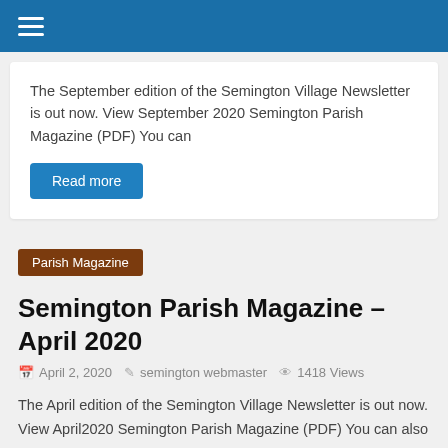≡
The September edition of the Semington Village Newsletter is out now. View September 2020 Semington Parish Magazine (PDF) You can
Read more
Parish Magazine
Semington Parish Magazine – April 2020
April 2, 2020   semington webmaster   1418 Views
The April edition of the Semington Village Newsletter is out now. View April2020 Semington Parish Magazine (PDF) You can also